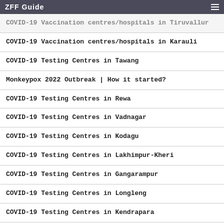ZFF Guide
COVID-19 Vaccination centres/hospitals in Tiruvallur
COVID-19 Vaccination centres/hospitals in Karauli
COVID-19 Testing Centres in Tawang
Monkeypox 2022 Outbreak | How it started?
COVID-19 Testing Centres in Rewa
COVID-19 Testing Centres in Vadnagar
COVID-19 Testing Centres in Kodagu
COVID-19 Testing Centres in Lakhimpur-Kheri
COVID-19 Testing Centres in Gangarampur
COVID-19 Testing Centres in Longleng
COVID-19 Testing Centres in Kendrapara